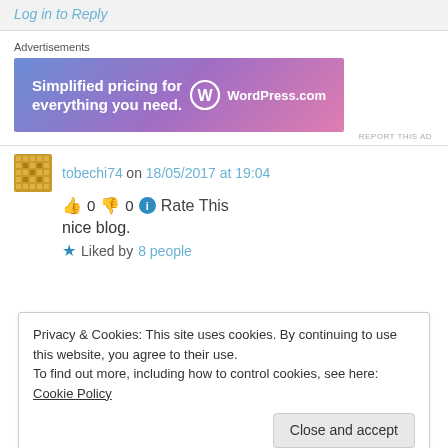Log in to Reply
Advertisements
[Figure (other): WordPress.com advertisement banner: 'Simplified pricing for everything you need.' with WordPress.com logo]
REPORT THIS AD
tobechi74 on 18/05/2017 at 19:04
👍 0 👎 0 ℹ Rate This
nice blog.
★ Liked by 8 people
Privacy & Cookies: This site uses cookies. By continuing to use this website, you agree to their use.
To find out more, including how to control cookies, see here: Cookie Policy
Close and accept
👍 1 👎 0 ℹ Rate This